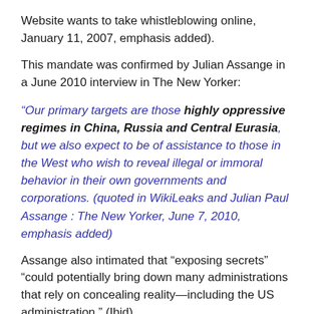Website wants to take whistleblowing online, January 11, 2007, emphasis added).
This mandate was confirmed by Julian Assange in a June 2010 interview in The New Yorker:
“Our primary targets are those highly oppressive regimes in China, Russia and Central Eurasia, but we also expect to be of assistance to those in the West who wish to reveal illegal or immoral behavior in their own governments and corporations. (quoted in WikiLeaks and Julian Paul Assange : The New Yorker, June 7, 2010, emphasis added)
Assange also intimated that “exposing secrets” “could potentially bring down many administrations that rely on concealing reality—including the US administration.” (Ibid)